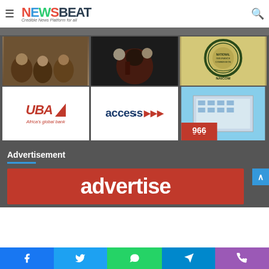NEWSBEAT - Credible News Platform for all
[Figure (photo): News website screenshot showing NewsBeat logo with hamburger menu and search icon in header]
[Figure (photo): Group of people seated in traditional attire]
[Figure (photo): Protest scene with man holding megaphone]
[Figure (logo): NAICOM - National Insurance Commission circular seal/logo]
[Figure (logo): UBA - Africa's global bank logo]
[Figure (logo): Access Bank logo with arrows]
[Figure (photo): Modern office building with 966 signage]
Advertisement
[Figure (infographic): Red advertisement banner with text 'advertise']